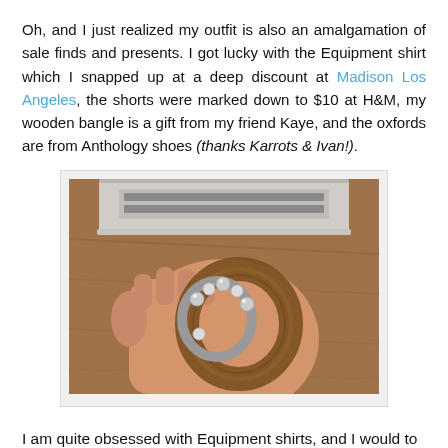Oh, and I just realized my outfit is also an amalgamation of sale finds and presents. I got lucky with the Equipment shirt which I snapped up at a deep discount at Madison Los Angeles, the shorts were marked down to $10 at H&M, my wooden bangle is a gift from my friend Kaye, and the oxfords are from Anthology shoes (thanks Karrots & Ivan!).
[Figure (photo): Close-up photo of a wrist wearing a large wooden bangle bracelet and a crystal/rhinestone bracelet, resting on a wooden table with a silver laptop in the background.]
I am quite obsessed with Equipment shirts, and I would to buy a rainbow of it when I have the chance.
[Figure (logo): Footer logo reading 'a french evolution' with a red badge to the right.]